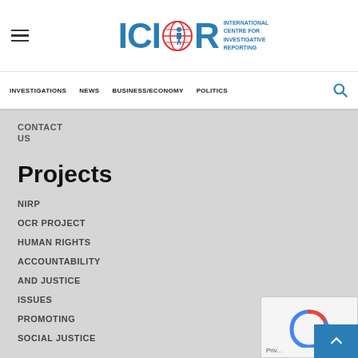[Figure (logo): ICIR - International Centre for Investigative Reporting logo with globe icon]
INVESTIGATIONS  NEWS  BUSINESS/ECONOMY  POLITICS
CONTACT
US
Projects
NIRP
OCR PROJECT
HUMAN RIGHTS
ACCOUNTABILITY
AND JUSTICE
ISSUES
PROMOTING
SOCIAL JUSTICE